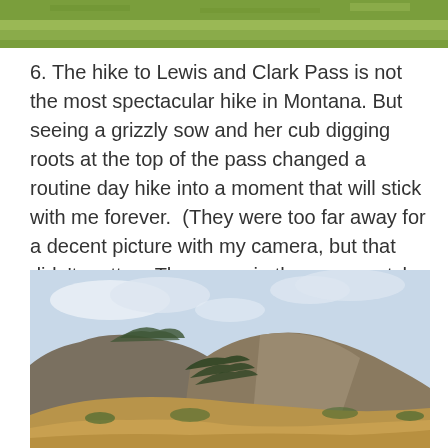[Figure (photo): Partial top strip of a landscape photo showing grassy terrain]
6. The hike to Lewis and Clark Pass is not the most spectacular hike in Montana. But seeing a grizzly sow and her cub digging roots at the top of the pass changed a routine day hike into a moment that will stick with me forever.  (They were too far away for a decent picture with my camera, but that didn't matter.  They were in the green patch at the bottom of the hill in this picture, and the whole thing is imprinted in my head better than any photograph!)
[Figure (photo): Landscape photo of Montana mountains with brown grassy foothills in the foreground and forested peaks under a partly cloudy sky]